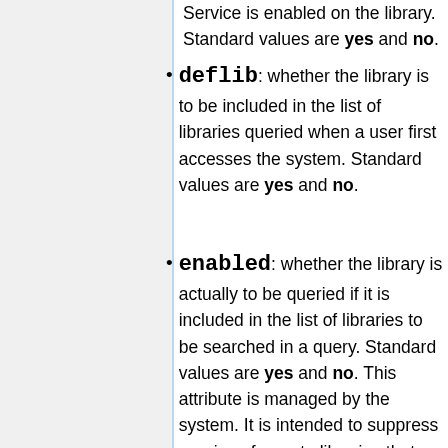Service is enabled on the library. Standard values are yes and no.
deflib: whether the library is to be included in the list of libraries queried when a user first accesses the system. Standard values are yes and no.
enabled: whether the library is actually to be queried if it is included in the list of libraries to be searched in a query. Standard values are yes and no. This attribute is managed by the system. It is intended to suppress queries of remote libraries that are known to be down. The LibraryMonitor daemon thread periodically checks remote libraries to see if they respond and